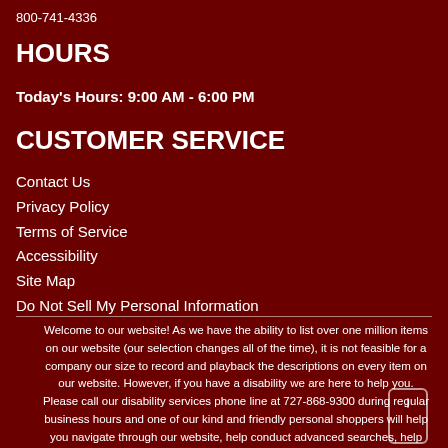800-741-4336
HOURS
Today's Hours: 9:00 AM - 6:00 PM
CUSTOMER SERVICE
Contact Us
Privacy Policy
Terms of Service
Accessibility
Site Map
Do Not Sell My Personal Information
Welcome to our website! As we have the ability to list over one million items on our website (our selection changes all of the time), it is not feasible for a company our size to record and playback the descriptions on every item on our website. However, if you have a disability we are here to help you. Please call our disability services phone line at 727-868-9300 during regular business hours and one of our kind and friendly personal shoppers will help you navigate through our website, help conduct advanced searches, help you choose the item you are looking for with the specifications you are